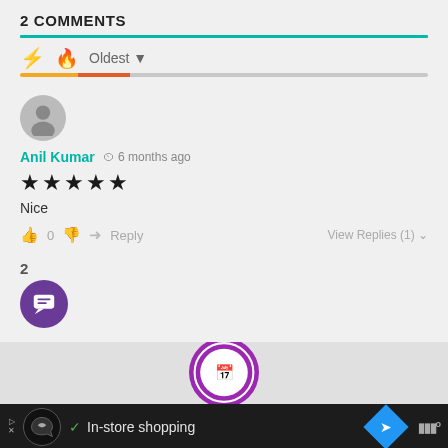2 COMMENTS
Oldest
[Figure (screenshot): User avatar placeholder icon (gray circle with person silhouette)]
Anil Kumar  6 months ago
★★★★★
Nice
👍 0 👎  → Reply   View Replies (1) ∨
2
[Figure (logo): Purple circle chat badge with comment icon showing number 2]
[Figure (logo): Bottom section with purple branded circle logo partially visible]
In-store shopping
[Figure (logo): Advertisement bar with Loops logo, checkmark, In-store shopping text, blue diamond arrow icon, and Waze-style logo]